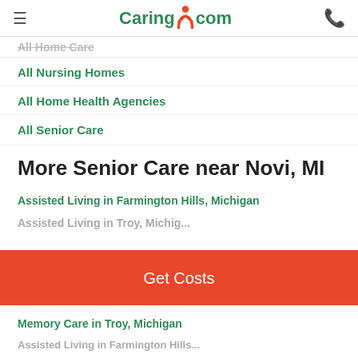Caring.com
All Home Care
All Nursing Homes
All Home Health Agencies
All Senior Care
More Senior Care near Novi, MI
Assisted Living in Farmington Hills, Michigan
Assisted Living in Troy, Michigan
Get Costs
Memory Care in Troy, Michigan
Assisted Living in Farmington Hills, Michigan